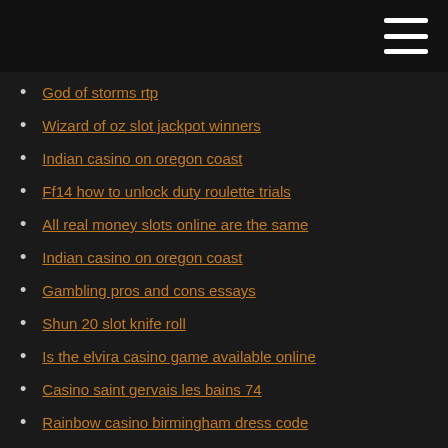God of storms rtp
Wizard of oz slot jackpot winners
Indian casino on oregon coast
Ff14 how to unlock duty roulette trials
All real money slots online are the same
Indian casino on oregon coast
Gambling pros and cons essays
Shun 20 slot knife roll
Is the elvira casino game available online
Casino saint gervais les bains 74
Rainbow casino birmingham dress code
Corinthian casino glasgow dress code
Real casino apps for ipad
Best online poker room freerolls